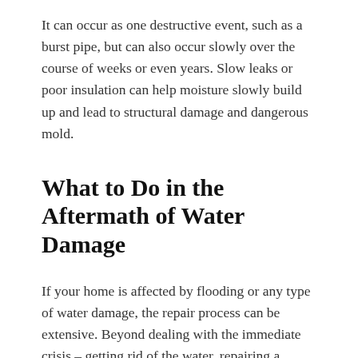It can occur as one destructive event, such as a burst pipe, but can also occur slowly over the course of weeks or even years. Slow leaks or poor insulation can help moisture slowly build up and lead to structural damage and dangerous mold.
What to Do in the Aftermath of Water Damage
If your home is affected by flooding or any type of water damage, the repair process can be extensive. Beyond dealing with the immediate crisis – getting rid of the water, repairing a broken pipe or appliance, etc. – it is also possible that other, less visible